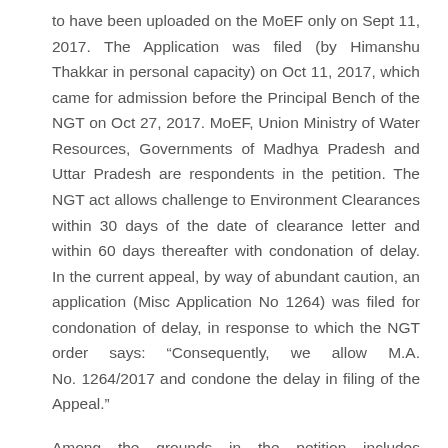to have been uploaded on the MoEF only on Sept 11, 2017. The Application was filed (by Himanshu Thakkar in personal capacity) on Oct 11, 2017, which came for admission before the Principal Bench of the NGT on Oct 27, 2017. MoEF, Union Ministry of Water Resources, Governments of Madhya Pradesh and Uttar Pradesh are respondents in the petition. The NGT act allows challenge to Environment Clearances within 30 days of the date of clearance letter and within 60 days thereafter with condonation of delay. In the current appeal, by way of abundant caution, an application (Misc Application No 1264) was filed for condonation of delay, in response to which the NGT order says: “Consequently, we allow M.A. No. 1264/2017 and condone the delay in filing of the Appeal.”
Among the grounds in the petition includes inadequate Environment Impact Assessment, lack of impact